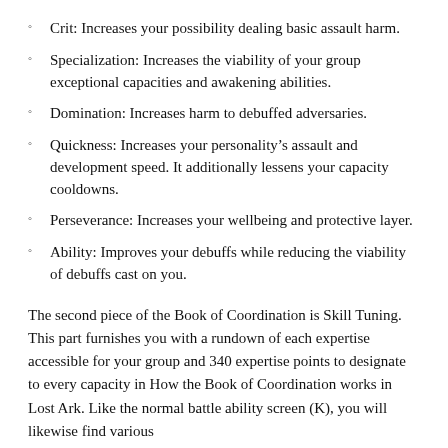Crit: Increases your possibility dealing basic assault harm.
Specialization: Increases the viability of your group exceptional capacities and awakening abilities.
Domination: Increases harm to debuffed adversaries.
Quickness: Increases your personality’s assault and development speed. It additionally lessens your capacity cooldowns.
Perseverance: Increases your wellbeing and protective layer.
Ability: Improves your debuffs while reducing the viability of debuffs cast on you.
The second piece of the Book of Coordination is Skill Tuning. This part furnishes you with a rundown of each expertise accessible for your group and 340 expertise points to designate to every capacity in How the Book of Coordination works in Lost Ark. Like the normal battle ability screen (K), you will likewise find various